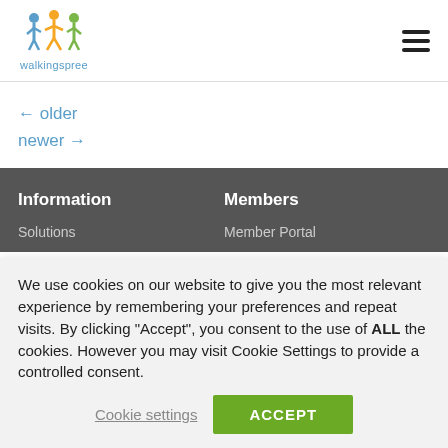[Figure (logo): Walkingspree logo with colorful human figures and text 'walkingspree']
← older
newer →
Information
Members
Solutions
Member Portal
We use cookies on our website to give you the most relevant experience by remembering your preferences and repeat visits. By clicking "Accept", you consent to the use of ALL the cookies. However you may visit Cookie Settings to provide a controlled consent.
Cookie settings
ACCEPT